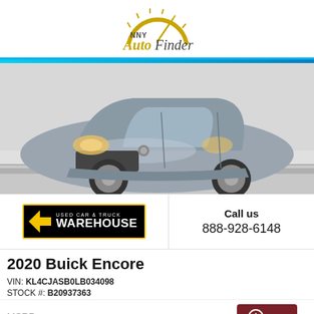[Figure (logo): NNY Auto Finder logo with speedometer graphic]
[Figure (photo): 2020 Buick Encore SUV in silver/grey, front 3/4 view in a dealership showroom]
[Figure (logo): Used Car & Truck Warehouse dealer logo, black background with yellow arrow]
Call us
888-928-6148
2020 Buick Encore
VIN: KL4CJASB0LB034098
STOCK #: B20937363
MSRP: